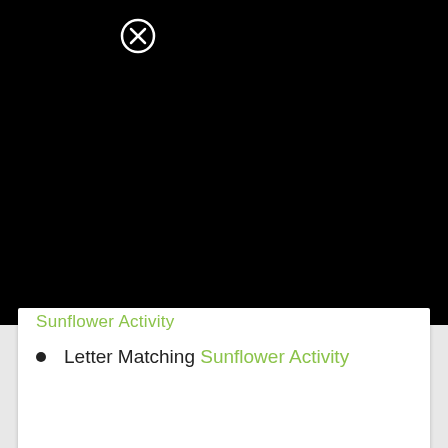[Figure (screenshot): Black panel area at top of screen, likely a video player or image area with a close (X) button in the upper left]
Sunflower Activity
Letter Matching Sunflower Activity
40
[Figure (other): Heart/favorite button (white circle with blue heart icon)]
[Figure (other): Search button (blue circle with white magnifying glass icon)]